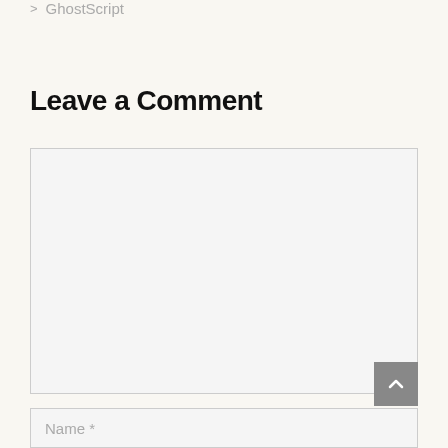> GhostScript
Leave a Comment
[Figure (other): Empty comment textarea input box with light gray background and thin border]
[Figure (other): Scroll-to-top button (gray square with upward chevron icon) overlapping bottom-right corner of textarea]
Name *